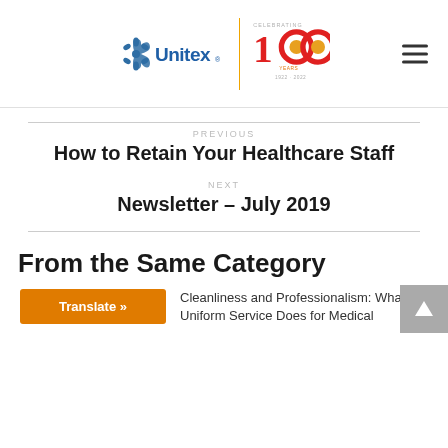Unitex — Celebrating 100 Years 1922–2022
PREVIOUS
How to Retain Your Healthcare Staff
NEXT
Newsletter – July 2019
From the Same Category
Cleanliness and Professionalism: What Uniform Service Does for Medical